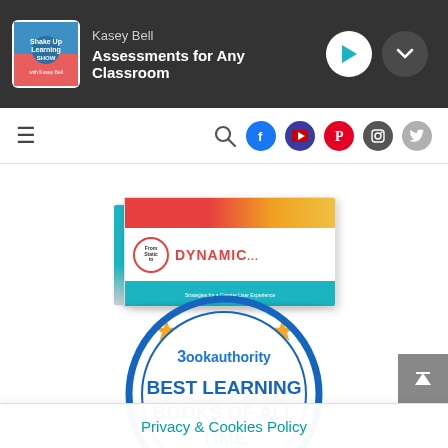Kasey Bell — Assessments for Any Classroom
[Figure (screenshot): Navigation bar with hamburger menu, search icon, and social media icons (Facebook, YouTube, Pinterest, Instagram, Twitter)]
[Figure (photo): Book cover showing 'From Static to DYNAMIC' with 5 gold stars below it, and 'Now Available On: amazon.com' text]
[Figure (logo): BookAuthority badge: BEST LEARNING BOOKS OF ALL TIME]
Privacy & Cookies Policy